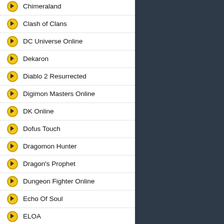Chimeraland
Clash of Clans
DC Universe Online
Dekaron
Diablo 2 Resurrected
Digimon Masters Online
DK Online
Dofus Touch
Dragomon Hunter
Dragon's Prophet
Dungeon Fighter Online
Echo Of Soul
ELOA
ELSword
Elyon
Eve
Fallout 76
FFXI